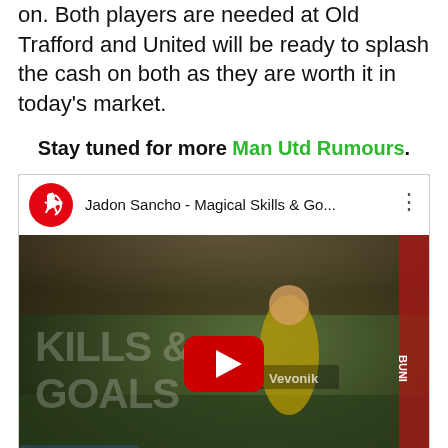on. Both players are needed at Old Trafford and United will be ready to splash the cash on both as they are worth it in today's market.
Stay tuned for more Man Utd Rumours.
[Figure (screenshot): YouTube embedded video thumbnail for 'Jadon Sancho - Magical Skills & Go...' showing a Bundesliga video with a player in yellow Borussia Dortmund kit and 'SKILLS & GOALS' text overlay with a YouTube play button.]